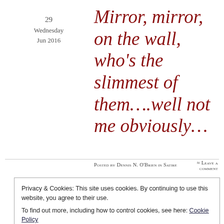29 Wednesday Jun 2016
Mirror, mirror, on the wall, who’s the slimmest of them….well not me obviously…
Posted by Dennis N. O’Brien in Satire
≈ Leave a comment
You don’t want to see your reflection?
Privacy & Cookies: This site uses cookies. By continuing to use this website, you agree to their use.
To find out more, including how to control cookies, see here: Cookie Policy
Close and accept